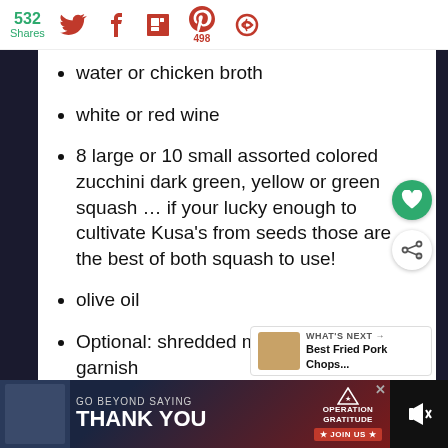532 Shares | Social share icons: Twitter, Facebook, Flipboard, Pinterest (498), Circle
water or chicken broth
white or red wine
8 large or 10 small assorted colored zucchini dark green, yellow or green squash … if your lucky enough to cultivate Kusa's from seeds those are the best of both squash to use!
olive oil
Optional: shredded mozzarella for the garnish
[Figure (infographic): GO BEYOND SAYING THANK YOU — Operation Gratitude JOIN US advertisement banner at bottom of page]